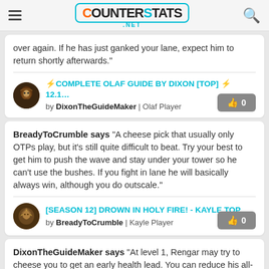COUNTERSTATS .NET
over again. If he has just ganked your lane, expect him to return shortly afterwards."
⚡COMPLETE OLAF GUIDE BY DIXON [TOP] ⚡ 12.1... by DixonTheGuideMaker | Olaf Player
BreadyToCrumble says "A cheese pick that usually only OTPs play, but it's still quite difficult to beat. Try your best to get him to push the wave and stay under your tower so he can't use the bushes. If you fight in lane he will basically always win, although you do outscale."
[SEASON 12] DROWN IN HOLY FIRE! - KAYLE TOP ... by BreadyToCrumble | Kayle Player
DixonTheGuideMaker says "At level 1, Rengar may try to cheese you to get an early health lead. You can reduce his all-in potential by waiting for him to show before walking